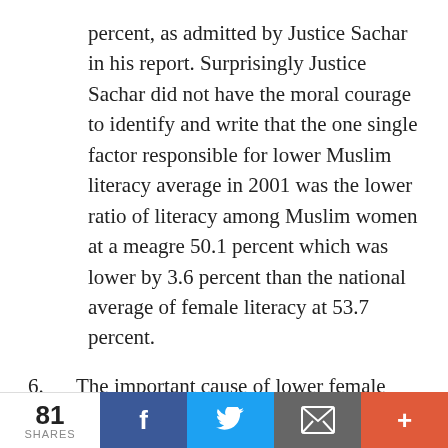percent, as admitted by Justice Sachar in his report. Surprisingly Justice Sachar did not have the moral courage to identify and write that the one single factor responsible for lower Muslim literacy average in 2001 was the lower ratio of literacy among Muslim women at a meagre 50.1 percent which was lower by 3.6 percent than the national average of female literacy at 53.7 percent.
6. The important cause of lower female literacy among Muslims ignored by Justice Sachar has its roots in the diktats of religious leaders restricting education of
81 SHARES | f | t | email | +